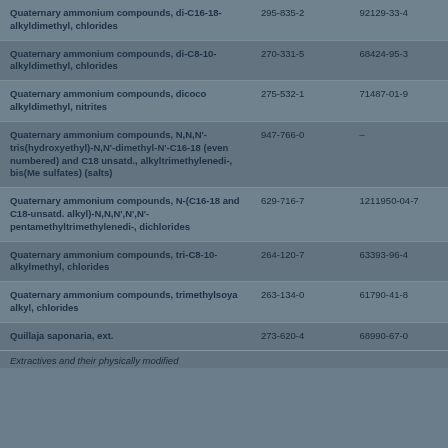| Substance name | EC number | CAS number |
| --- | --- | --- |
| Quaternary ammonium compounds, di-C16-18-alkyldimethyl, chlorides | 295-835-2 | 92129-33-4 |
| Quaternary ammonium compounds, di-C8-10-alkyldimethyl, chlorides | 270-331-5 | 68424-95-3 |
| Quaternary ammonium compounds, dicoco alkyldimethyl, nitrites | 275-532-1 | 71487-01-9 |
| Quaternary ammonium compounds, N,N,N'-tris(hydroxyethyl)-N,N'-dimethyl-N'-C16-18 (even numbered) and C18 unsatd., alkyltrimethylenedi-, bis(Me sulfates) (salts) | 947-766-0 | - |
| Quaternary ammonium compounds, N-(C16-18 and C18-unsatd. alkyl)-N,N,N',N',N'-pentamethyltrimethylenedi-, dichlorides | 629-716-7 | 1211950-04-7 |
| Quaternary ammonium compounds, tri-C8-10-alkylmethyl, chlorides | 264-120-7 | 63393-96-4 |
| Quaternary ammonium compounds, trimethylsoya alkyl, chlorides | 263-134-0 | 61790-41-8 |
| Quillaja saponaria, ext. | 273-620-4 | 68990-67-0 |
Extractives and their physically modified derivatives such as tinctures, concretes, absolutes, essential oils, oleoresins, terpenes, terpene-free fractions, distillates, residues, etc., obtained from Quillaja saponaria, Rosaceae.